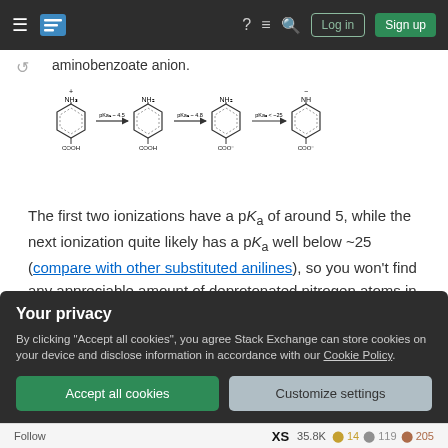Stack Exchange navigation bar with Log in and Sign up buttons
aminobenzoate anion.
[Figure (engineering-diagram): Chemical reaction diagram showing three ionization steps of aminobenzoic acid. Four benzene ring structures with amino (NH3+/NH2/NH) and carboxyl (COOH/COO-) groups, connected by arrows labeled pKa1~4.5, pKa2~4.8, pKa3<~25.]
The first two ionizations have a pKa of around 5, while the next ionization quite likely has a pKa well below ~25 (compare with other substituted anilines), so you won't find any appreciable amount of deprotonated nitrogen atoms in an aqueous solution. Groups with N−H bonds
Your privacy
By clicking "Accept all cookies", you agree Stack Exchange can store cookies on your device and disclose information in accordance with our Cookie Policy.
Accept all cookies
Customize settings
Follow   XS  35.8K  14  119  205